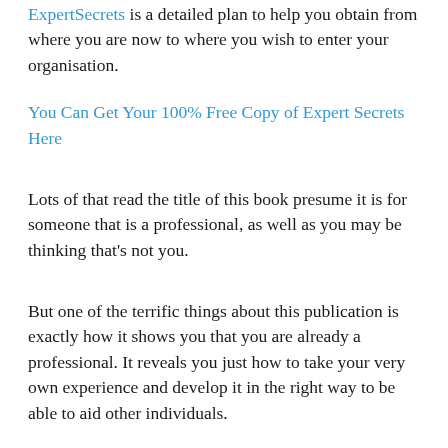ExpertSecrets is a detailed plan to help you obtain from where you are now to where you wish to enter your organisation.
You Can Get Your 100% Free Copy of Expert Secrets Here
Lots of that read the title of this book presume it is for someone that is a professional, as well as you may be thinking that's not you.
But one of the terrific things about this publication is exactly how it shows you that you are already a professional. It reveals you just how to take your very own experience and develop it in the right way to be able to aid other individuals.